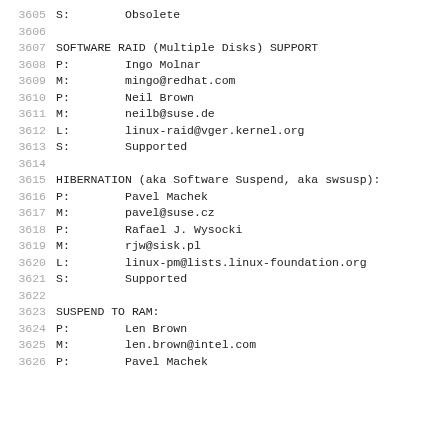3605    S:        Obsolete
3606
3607    SOFTWARE RAID (Multiple Disks) SUPPORT
3608    P:        Ingo Molnar
3609    M:        mingo@redhat.com
3610    P:        Neil Brown
3611    M:        neilb@suse.de
3612    L:        linux-raid@vger.kernel.org
3613    S:        Supported
3614
3615    HIBERNATION (aka Software Suspend, aka swsusp):
3616    P:        Pavel Machek
3617    M:        pavel@suse.cz
3618    P:        Rafael J. Wysocki
3619    M:        rjw@sisk.pl
3620    L:        linux-pm@lists.linux-foundation.org
3621    S:        Supported
3622
3623    SUSPEND TO RAM:
3624    P:        Len Brown
3625    M:        len.brown@intel.com
3626    P:        Pavel Machek